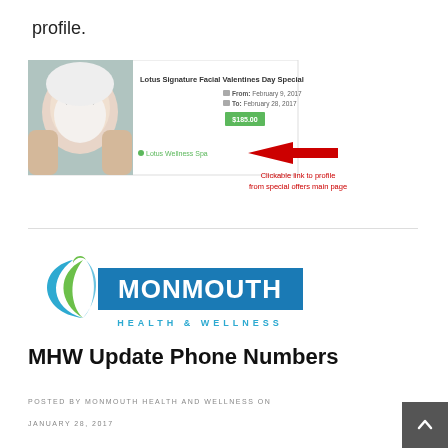profile.
[Figure (screenshot): Special offer card showing 'Lotus Signature Facial Valentines Day Special' with a spa facial image, dates From: February 9, 2017 To: February 28, 2017, price $185.00 in green, location link 'Lotus Wellness Spa' in green with a red arrow pointing to it and annotation text 'Clickable link to profile from special offers main page' in red.]
[Figure (logo): Monmouth Health & Wellness logo with green leaf/wave icon and blue rectangle containing white text MONMOUTH, and teal text HEALTH & WELLNESS below.]
MHW Update Phone Numbers
POSTED BY MONMOUTH HEALTH AND WELLNESS ON
JANUARY 28, 2017